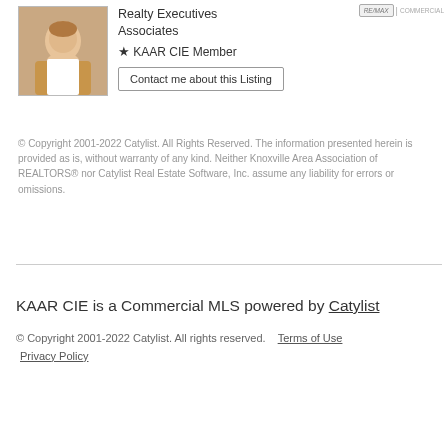[Figure (photo): Headshot photo of a male real estate agent]
Realty Executives Associates
★ KAAR CIE Member
Contact me about this Listing
© Copyright 2001-2022 Catylist. All Rights Reserved. The information presented herein is provided as is, without warranty of any kind. Neither Knoxville Area Association of REALTORS® nor Catylist Real Estate Software, Inc. assume any liability for errors or omissions.
KAAR CIE is a Commercial MLS powered by Catylist
© Copyright 2001-2022 Catylist. All rights reserved.   Terms of Use  Privacy Policy